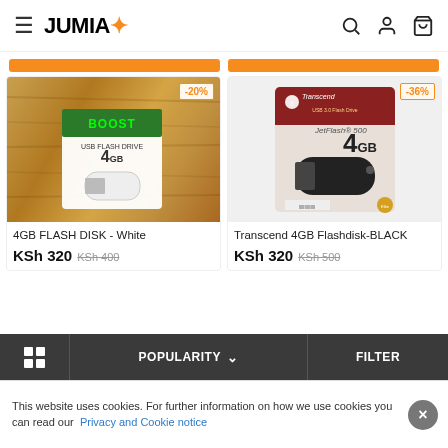JUMIA
[Figure (screenshot): Jumia e-commerce website screenshot showing two USB flash drive products: 4GB FLASH DISK - White at KSh 320 (was KSh 400, -20%) and Transcend 4GB Flashdisk-BLACK at KSh 320 (was KSh 500, -36%). Bottom navigation shows grid view, Popularity sort, and Filter options. Cookie notice at bottom.]
4GB FLASH DISK - White
KSh 320 KSh 400
Transcend 4GB Flashdisk-BLACK
KSh 320 KSh 500
POPULARITY
FILTER
This website uses cookies. For further information on how we use cookies you can read our Privacy and Cookie notice